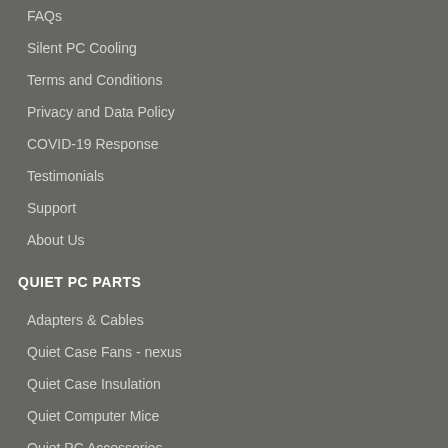FAQs
Silent PC Cooling
Terms and Conditions
Privacy and Data Policy
COVID-19 Response
Testimonials
Support
About Us
QUIET PC PARTS
Adapters & Cables
Quiet Case Fans - nexus
Quiet Case Insulation
Quiet Computer Mice
Quiet PC Accessories
SURPLUS Computer Parts